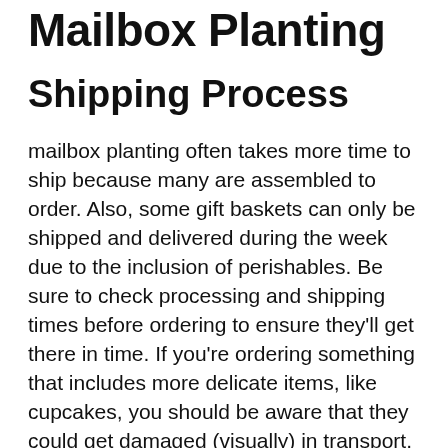Mailbox Planting
Shipping Process
mailbox planting often takes more time to ship because many are assembled to order. Also, some gift baskets can only be shipped and delivered during the week due to the inclusion of perishables. Be sure to check processing and shipping times before ordering to ensure they'll get there in time. If you're ordering something that includes more delicate items, like cupcakes, you should be aware that they could get damaged (visually) in transport.
Variety